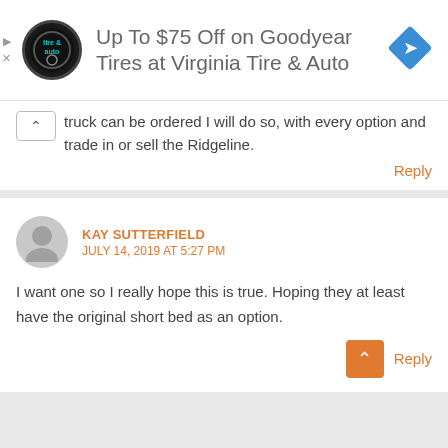[Figure (other): Advertisement banner: 'Up To $75 Off on Goodyear Tires at Virginia Tire & Auto' with a tire & auto logo and a navigation arrow icon]
truck can be ordered I will do so, with every option and trade in or sell the Ridgeline.
Reply
KAY SUTTERFIELD
JULY 14, 2019 AT 5:27 PM
I want one so I really hope this is true. Hoping they at least have the original short bed as an option.
Reply